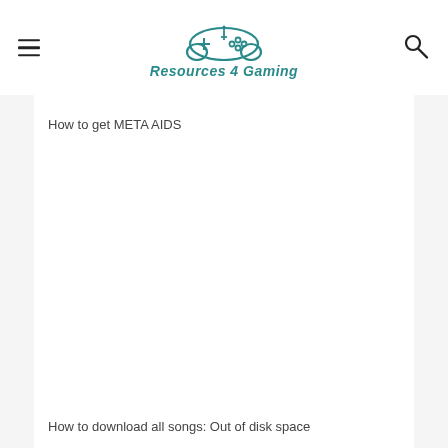Resources 4 Gaming
How to get META AIDS
How to download all songs: Out of disk space